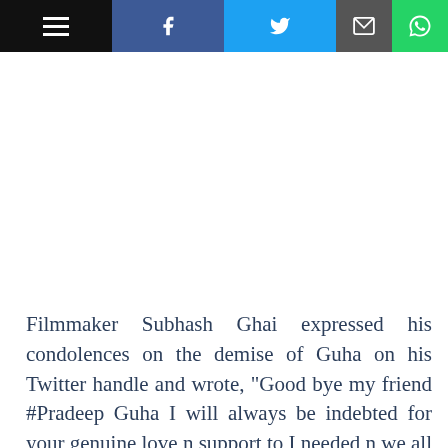Navigation bar with menu, Facebook, Twitter, Email, WhatsApp icons
Filmmaker Subhash Ghai expressed his condolences on the demise of Guha on his Twitter handle and wrote, "Good bye my friend #Pradeep Guha I will always be indebted for your genuine love n support to I needed n we all @Whistling_Woods international 4 your enriched guidance as a director on board since its birth. U were